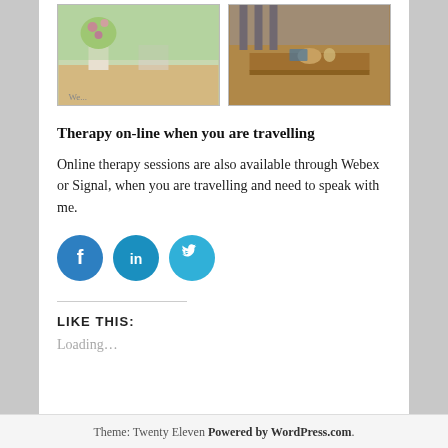[Figure (photo): Two photos side by side: left shows a flower vase on a windowsill, right shows a wooden side table with items on it]
Therapy on-line when you are travelling
Online therapy sessions are also available through Webex or Signal, when you are travelling and need to speak with me.
[Figure (infographic): Three circular social media share buttons: Facebook (blue), LinkedIn (teal), Twitter (light blue)]
LIKE THIS:
Loading...
Theme: Twenty Eleven Powered by WordPress.com.